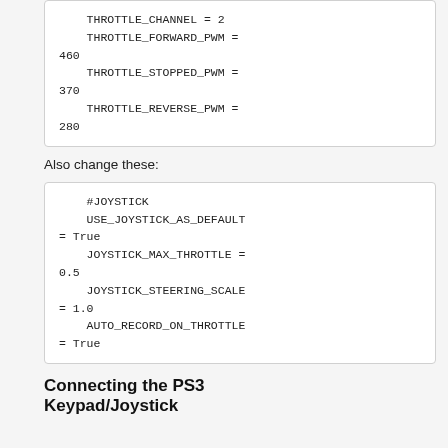THROTTLE_CHANNEL = 2
    THROTTLE_FORWARD_PWM = 460
    THROTTLE_STOPPED_PWM = 370
    THROTTLE_REVERSE_PWM = 280
Also change these:
#JOYSTICK
    USE_JOYSTICK_AS_DEFAULT = True
    JOYSTICK_MAX_THROTTLE = 0.5
    JOYSTICK_STEERING_SCALE = 1.0
    AUTO_RECORD_ON_THROTTLE = True
Connecting the PS3 Keypad/Joystick